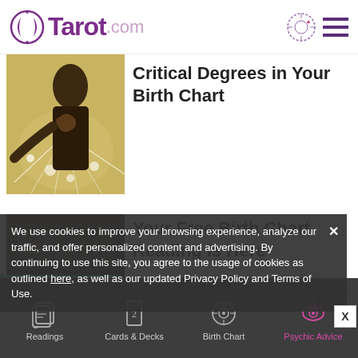Tarot.com
Critical Degrees in Your Birth Chart
[Figure (photo): Woman with mystical light rays in golden tones]
Your Free Birth Chart Reading Is Here
[Figure (photo): Dark moody image for birth chart article]
We use cookies to improve your browsing experience, analyze our traffic, and offer personalized content and advertising. By continuing to use this site, you agree to the usage of cookies as outlined here, as well as our updated Privacy Policy and Terms of Use.
Readings | Cards & Decks | Birth Chart | Psychic Advice